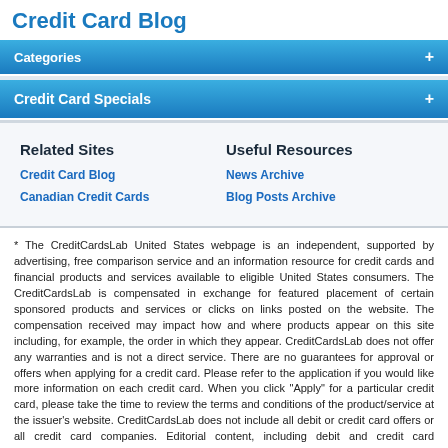Credit Card Blog
Categories
Credit Card Specials
Related Sites
Credit Card Blog
Canadian Credit Cards
Useful Resources
News Archive
Blog Posts Archive
* The CreditCardsLab United States webpage is an independent, supported by advertising, free comparison service and an information resource for credit cards and financial products and services available to eligible United States consumers. The CreditCardsLab is compensated in exchange for featured placement of certain sponsored products and services or clicks on links posted on the website. The compensation received may impact how and where products appear on this site including, for example, the order in which they appear. CreditCardsLab does not offer any warranties and is not a direct service. There are no guarantees for approval or offers when applying for a credit card. Please refer to the application if you would like more information on each credit card. When you click "Apply" for a particular credit card, please take the time to review the terms and conditions of the product/service at the issuer's website. CreditCardsLab does not include all debit or credit card offers or all credit card companies. Editorial content, including debit and credit card comparisons and reviews are not provided or commissioned by the credit card issuers. Opinions expressed here are the author's alone and have not been reviewed, approved or otherwise endorsed by the card issuer.